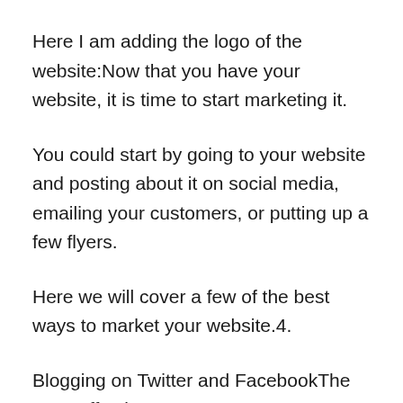Here I am adding the logo of the website:Now that you have your website, it is time to start marketing it.
You could start by going to your website and posting about it on social media, emailing your customers, or putting up a few flyers.
Here we will cover a few of the best ways to market your website.4.
Blogging on Twitter and FacebookThe most effective way to promote your website is to use social media and blogs to reach out to your